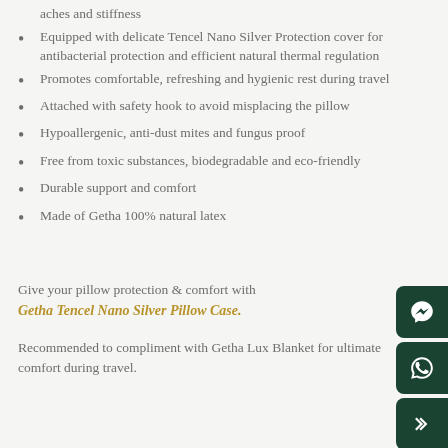aches and stiffness
Equipped with delicate Tencel Nano Silver Protection cover for antibacterial protection and efficient natural thermal regulation
Promotes comfortable, refreshing and hygienic rest during travel
Attached with safety hook to avoid misplacing the pillow
Hypoallergenic, anti-dust mites and fungus proof
Free from toxic substances, biodegradable and eco-friendly
Durable support and comfort
Made of Getha 100% natural latex
Give your pillow protection & comfort with Getha Tencel Nano Silver Pillow Case.
Recommended to compliment with Getha Lux Blanket for ultimate comfort during travel.